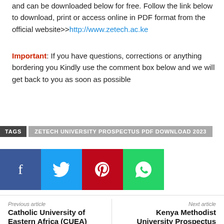and can be downloaded below for free. Follow the link below to download, print or access online in PDF format from the official website>>http://www.zetech.ac.ke
Important: If you have questions, corrections or anything bordering you Kindly use the comment box below and we will get back to you as soon as possible
TAGS  ZETECH UNIVERSITY PROSPECTUS PDF DOWNLOAD 2023
[Figure (other): Social sharing buttons: Facebook (blue), Twitter (light blue), Pinterest (red), WhatsApp (green)]
Previous article
Catholic University of Eastern Africa (CUEA)
Next article
Kenya Methodist University Prospectus PDF